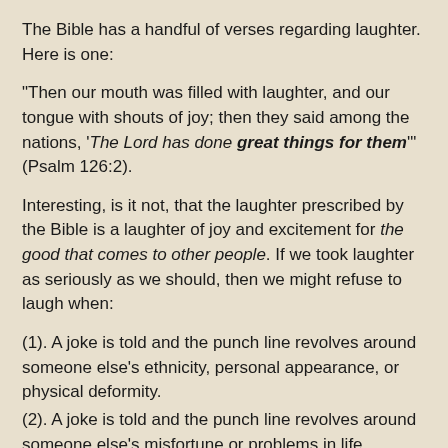The Bible has a handful of verses regarding laughter. Here is one:
"Then our mouth was filled with laughter, and our tongue with shouts of joy; then they said among the nations, 'The Lord has done great things for them'" (Psalm 126:2).
Interesting, is it not, that the laughter prescribed by the Bible is a laughter of joy and excitement for the good that comes to other people. If we took laughter as seriously as we should, then we might refuse to laugh when:
(1). A joke is told and the punch line revolves around someone else's ethnicity, personal appearance, or physical deformity.
(2). A joke is told and the punch line revolves around someone else's misfortune or problems in life.
(3). A joke is told and the punch line revolves around someone else's perceived stupidity or foolishness.
May I always be on my guard to laugh with joy at the good fortune of others and to refrain from laughing at others.